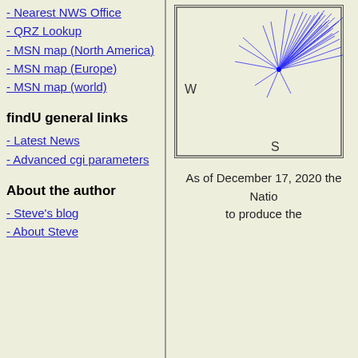- Nearest NWS Office
- QRZ Lookup
- MSN map (North America)
- MSN map (Europe)
- MSN map (world)
findU general links
- Latest News
- Advanced cgi parameters
About the author
- Steve's blog
- About Steve
[Figure (other): Wind rose diagram showing wind directions with many rays pointing from center, labeled W on left and S at bottom, dense cluster of blue lines toward NE direction]
As of December 17, 2020 the Natio to produce the